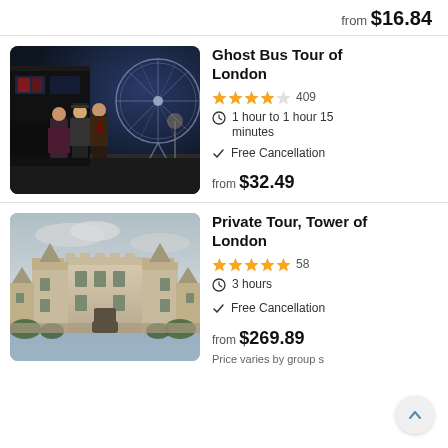from $16.84
[Figure (photo): Ghost Bus Tour of London night photo with costumed characters in front of a dark double-decker bus and the London Eye in the background]
Ghost Bus Tour of London
★★★★☆ 409
1 hour to 1 hour 15 minutes
Free Cancellation
from $32.49
[Figure (photo): Tower of London castle exterior photo with medieval stone towers against a cloudy sky]
Private Tour, Tower of London
★★★★★ 58
3 hours
Free Cancellation
from $269.89
Price varies by group s